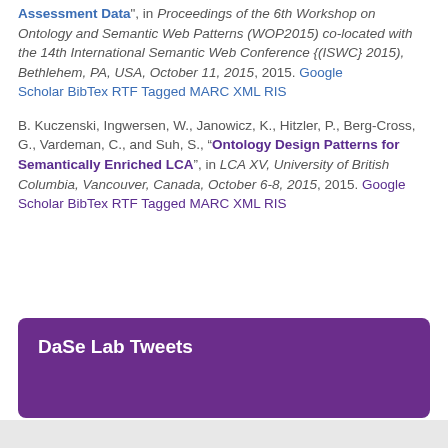Assessment Data", in Proceedings of the 6th Workshop on Ontology and Semantic Web Patterns (WOP2015) co-located with the 14th International Semantic Web Conference {(ISWC} 2015), Bethlehem, PA, USA, October 11, 2015, 2015. Google Scholar BibTex RTF Tagged MARC XML RIS
B. Kuczenski, Ingwersen, W., Janowicz, K., Hitzler, P., Berg-Cross, G., Vardeman, C., and Suh, S., "Ontology Design Patterns for Semantically Enriched LCA", in LCA XV, University of British Columbia, Vancouver, Canada, October 6-8, 2015, 2015. Google Scholar BibTex RTF Tagged MARC XML RIS
DaSe Lab Tweets